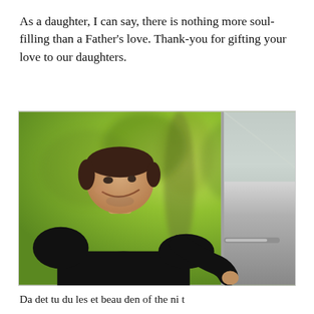As a daughter, I can say, there is nothing more soul-filling than a Father's love. Thank-you for gifting your love to our daughters.
[Figure (photo): A smiling man in a black t-shirt outdoors, standing near a vehicle, with green trees and foliage in the background.]
Da det tu du les et beau den of the ni t